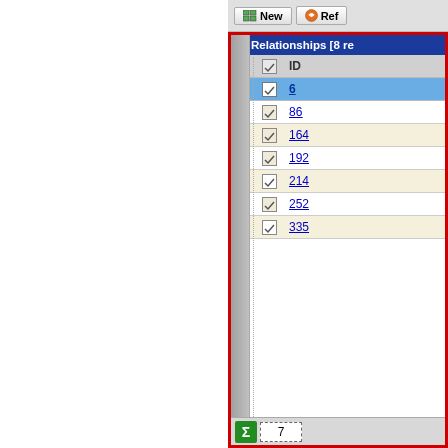[Figure (screenshot): A database UI panel showing a 'Relationships [8 re...]' table with checkboxes and ID values: 6 (selected/highlighted in blue), 86, 164, 192, 214, 252, 335. There is a toolbar at top with New and Ref buttons, and a sum bar at bottom showing sigma icon and value 7. The panel is outlined with a red border.]